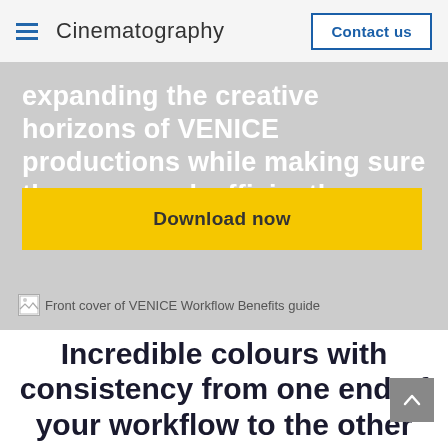Cinematography | Contact us
expanding the creative horizons of VENICE productions while making sure they can work efficiently.
Download now
[Figure (other): Broken image placeholder with alt text: Front cover of VENICE Workflow Benefits guide]
Incredible colours with consistency from one end of your workflow to the other